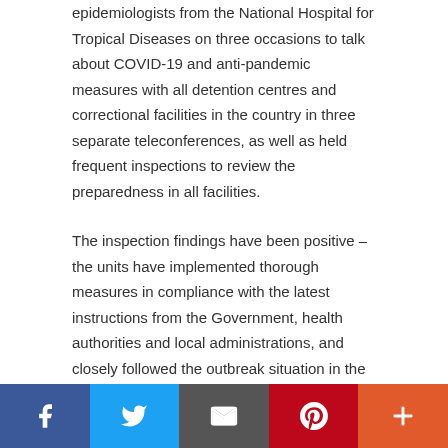epidemiologists from the National Hospital for Tropical Diseases on three occasions to talk about COVID-19 and anti-pandemic measures with all detention centres and correctional facilities in the country in three separate teleconferences, as well as held frequent inspections to review the preparedness in all facilities.
The inspection findings have been positive – the units have implemented thorough measures in compliance with the latest instructions from the Government, health authorities and local administrations, and closely followed the outbreak situation in the country to inform officers, inmates, and juveniles of their responsibilities in the fight against the pandemic.
The units have carried out anti-pandemic measures based on the
[Figure (infographic): Social media sharing bar with Facebook, Twitter, Email, Pinterest, and More buttons]